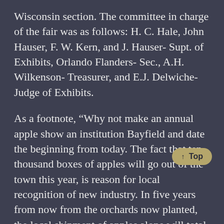Wisconsin section.  The committee in charge of the fair was as follows: H. C. Hale, John Hauser, F. W. Kern, and J. Hauser- Supt. of Exhibits, Orlando Flanders- Sec., A.H. Wilkenson- Treasurer, and E.J. Delwiche- Judge of Exhibits.
As a footnote, “Why not make an annual apple show an institution Bayfield and date the beginning from today.  The fact that ten thousand boxes of apples will go out of the town this year, is reason for local recognition of new industry.  In five years from now from the orchards now planted, the local shipment of apples alone will total five hundred